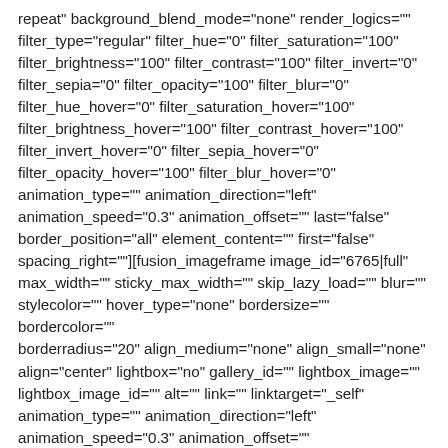repeat" background_blend_mode="none" render_logics="" filter_type="regular" filter_hue="0" filter_saturation="100" filter_brightness="100" filter_contrast="100" filter_invert="0" filter_sepia="0" filter_opacity="100" filter_blur="0" filter_hue_hover="0" filter_saturation_hover="100" filter_brightness_hover="100" filter_contrast_hover="100" filter_invert_hover="0" filter_sepia_hover="0" filter_opacity_hover="100" filter_blur_hover="0" animation_type="" animation_direction="left" animation_speed="0.3" animation_offset="" last="false" border_position="all" element_content="" first="false" spacing_right=""][fusion_imageframe image_id="6765|full" max_width="" sticky_max_width="" skip_lazy_load="" blur="" stylecolor="" hover_type="none" bordersize="" bordercolor="" borderradius="20" align_medium="none" align_small="none" align="center" lightbox="no" gallery_id="" lightbox_image="" lightbox_image_id="" alt="" link="" linktarget="_self" animation_type="" animation_direction="left" animation_speed="0.3" animation_offset=""